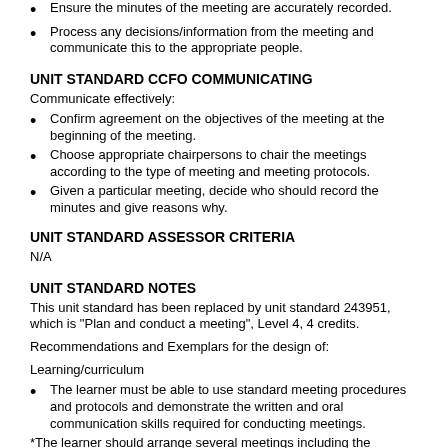Ensure the minutes of the meeting are accurately recorded.
Process any decisions/information from the meeting and communicate this to the appropriate people.
UNIT STANDARD CCFO COMMUNICATING
Communicate effectively:
Confirm agreement on the objectives of the meeting at the beginning of the meeting.
Choose appropriate chairpersons to chair the meetings according to the type of meeting and meeting protocols.
Given a particular meeting, decide who should record the minutes and give reasons why.
UNIT STANDARD ASSESSOR CRITERIA
N/A
UNIT STANDARD NOTES
This unit standard has been replaced by unit standard 243951, which is "Plan and conduct a meeting", Level 4, 4 credits.
Recommendations and Exemplars for the design of:
Learning/curriculum
The learner must be able to use standard meeting procedures and protocols and demonstrate the written and oral communication skills required for conducting meetings.
*The learner should arrange several meetings including the drawing up of an agenda for each meeting.
*The learner should familiarise him/ her self with all the requirements and